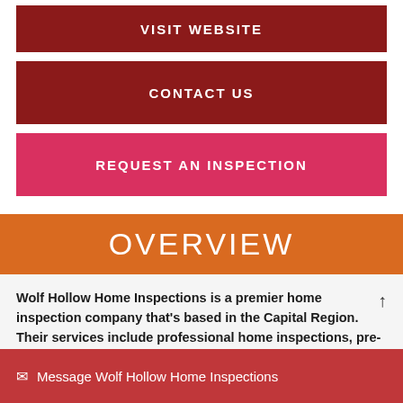VISIT WEBSITE
CONTACT US
REQUEST AN INSPECTION
OVERVIEW
Wolf Hollow Home Inspections is a premier home inspection company that's based in the Capital Region. Their services include professional home inspections, pre-listing inspections, radon testing, and more.
Message Wolf Hollow Home Inspections